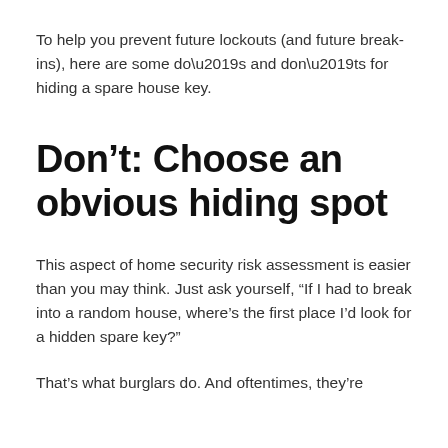To help you prevent future lockouts (and future break-ins), here are some do’s and don’ts for hiding a spare house key.
Don’t: Choose an obvious hiding spot
This aspect of home security risk assessment is easier than you may think. Just ask yourself, “If I had to break into a random house, where’s the first place I’d look for a hidden spare key?”
That’s what burglars do. And oftentimes, they’re